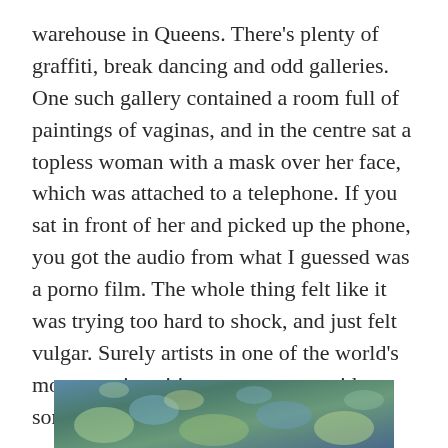warehouse in Queens. There's plenty of graffiti, break dancing and odd galleries. One such gallery contained a room full of paintings of vaginas, and in the centre sat a topless woman with a mask over her face, which was attached to a telephone. If you sat in front of her and picked up the phone, you got the audio from what I guessed was a porno film. The whole thing felt like it was trying too hard to shock, and just felt vulgar. Surely artists in one of the world's most creative cities can come up with something better than that?
5 Pointz
[Figure (photo): Partial photo at bottom of page showing a colorful painting or mural, cropped — only the top portion visible]